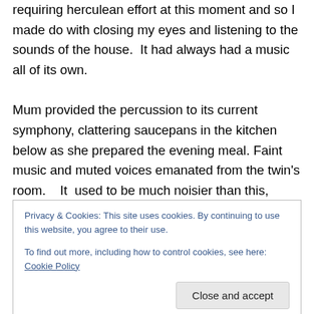requiring herculean effort at this moment and so I made do with closing my eyes and listening to the sounds of the house.  It had always had a music all of its own.

Mum provided the percussion to its current symphony, clattering saucepans in the kitchen below as she prepared the evening meal. Faint music and muted voices emanated from the twin's room.   It  used to be much noisier than this, when Steph and Nat and Laura had still lived at home.  I used to long for quiet then, but now I kind of missed the din.
Privacy & Cookies: This site uses cookies. By continuing to use this website, you agree to their use.
To find out more, including how to control cookies, see here: Cookie Policy
Close and accept
tender age of 22 had married the lovely David, her